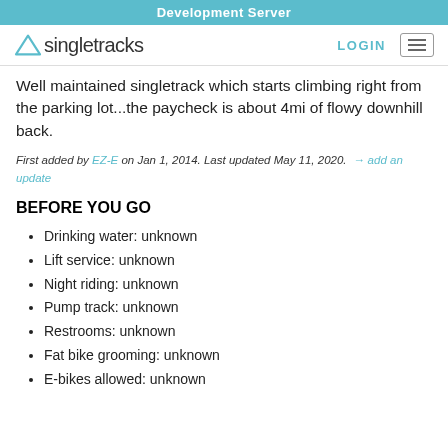Development Server
[Figure (logo): Singletracks logo with triangle icon and text 'singletracks']
Well maintained singletrack which starts climbing right from the parking lot...the paycheck is about 4mi of flowy downhill back.
First added by EZ-E on Jan 1, 2014. Last updated May 11, 2020. → add an update
BEFORE YOU GO
Drinking water: unknown
Lift service: unknown
Night riding: unknown
Pump track: unknown
Restrooms: unknown
Fat bike grooming: unknown
E-bikes allowed: unknown